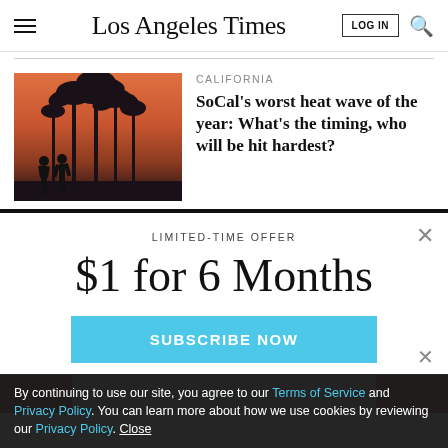Los Angeles Times
CALIFORNIA
SoCal's worst heat wave of the year: What's the timing, who will be hit hardest?
[Figure (photo): Two people silhouetted against a sunset sky with tall palm trees at a beach location]
LIMITED-TIME OFFER
$1 for 6 Months
SUBSCRIBE NOW
By continuing to use our site, you agree to our Terms of Service and Privacy Policy. You can learn more about how we use cookies by reviewing our Privacy Policy. Close